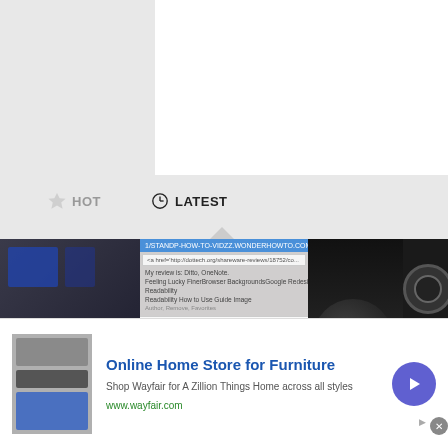[Figure (screenshot): White content card area, partially visible on upper portion of page]
HOT   LATEST
[Figure (screenshot): Grid strip of three thumbnail images: a dark desktop screenshot on left, a browser/web screenshot in middle showing WonderHowTo page with links, and a dark car/controls image on right]
[Figure (infographic): Advertisement banner for Wayfair: Online Home Store for Furniture. Shop Wayfair for A Zillion Things Home across all styles. www.wayfair.com. With furniture image on left and arrow button on right.]